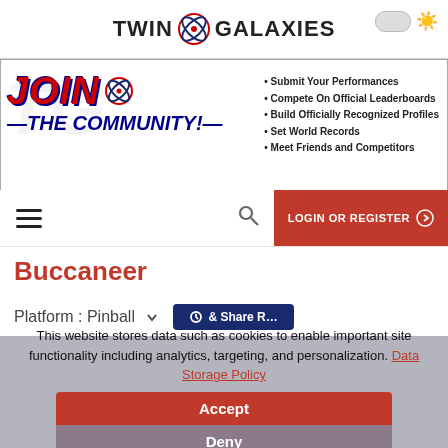[Figure (logo): Twin Galaxies logo with stylized atomic/orbit icon between the two words, plus a theme toggle (oval switch and sun icon) in the top right]
[Figure (infographic): JOIN THE COMMUNITY! banner ad with red/blue styled text, TG logo icon, and bullet list: Submit Your Performances, Compete On Official Leaderboards, Build Officially Recognized Profiles, Set World Records, Meet Friends and Competitors]
[Figure (screenshot): Navigation bar with hamburger menu icon, search icon, and LOGIN OR REGISTER button]
Buccaneer
Platform : Pinball
This website stores data such as cookies to enable important site functionality including analytics, targeting, and personalization. Data Storage Policy
Accept
Deny